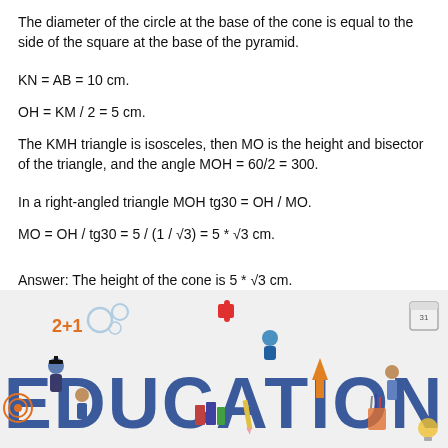The diameter of the circle at the base of the cone is equal to the side of the square at the base of the pyramid.
KN = AB = 10 cm.
OH = KM / 2 = 5 cm.
The KMH triangle is isosceles, then MO is the height and bisector of the triangle, and the angle MOH = 60/2 = 300.
In a right-angled triangle MOH tg30 = OH / MO.
MO = OH / tg30 = 5 / (1 / √3) = 5 * √3 cm.
Answer: The height of the cone is 5 * √3 cm.
[Figure (illustration): Educational illustration with the word EDUCATION in large bold blue letters, surrounded by cartoon figures of students, teachers, books, pencils, puzzles, gears, arrows, and other education-themed icons. '2+1' text appears in orange on the left.]